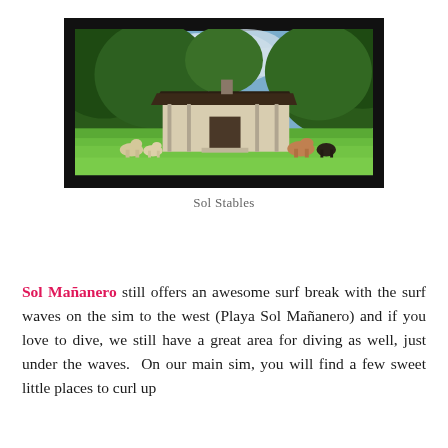[Figure (photo): Outdoor scene showing a rustic building with a dark thatched/wooden roof set among tall green trees. Green grass in the foreground with what appear to be llamas or alpacas grazing. Partially cloudy sky visible through the tree canopy.]
Sol Stables
Sol Mañanero still offers an awesome surf break with the surf waves on the sim to the west (Playa Sol Mañanero) and if you love to dive, we still have a great area for diving as well, just under the waves.  On our main sim, you will find a few sweet little places to curl up